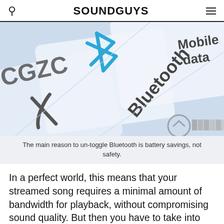SOUNDGUYS
[Figure (photo): Close-up of smartphone screen or cards showing wireless technology icons and labels: Bluetooth symbol in blue, NFC symbol, text reading 'Bluetooth', 'Mobile data', 'CGZC', and a settings/toggle icon on a light blue background.]
The main reason to un-toggle Bluetooth is battery savings, not safety.
In a perfect world, this means that your streamed song requires a minimal amount of bandwidth for playback, without compromising sound quality. But then you have to take into account a file's bitrate.